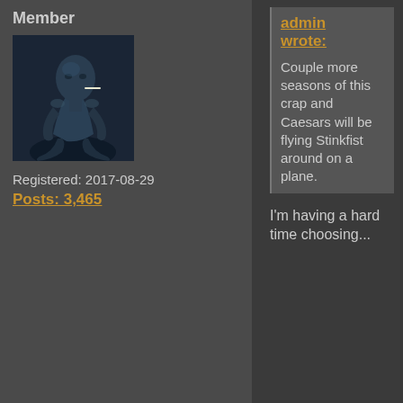Member
[Figure (photo): A person sitting, viewed from side, dark blue-tinted photo]
Registered: 2017-08-29
Posts: 3,465
admin wrote:
Couple more seasons of this crap and Caesars will be flying Stinkfist around on a plane.
I'm having a hard time choosing...